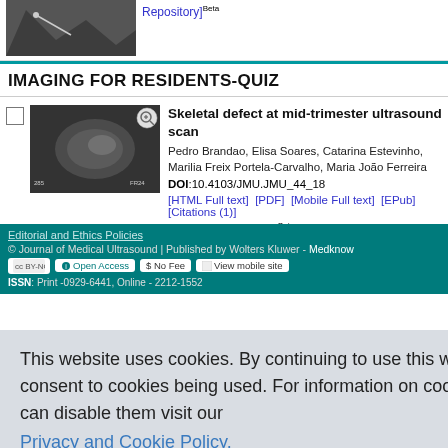[Figure (photo): Ultrasound image thumbnail at top of page with zoom icon]
Repository]Beta
IMAGING FOR RESIDENTS-QUIZ
Skeletal defect at mid-trimester ultrasound scan
Pedro Brandao, Elisa Soares, Catarina Estevinho, Marilia Freix Portela-Carvalho, Maria João Ferreira
DOI:10.4103/JMU.JMU_44_18
[HTML Full text]  [PDF]  [Mobile Full text]  [EPub]  [Citations (1)]
Plugin for Repository]Beta
CME TEST
CME-test
This website uses cookies. By continuing to use this website you are giving consent to cookies being used. For information on cookies and how you can disable them visit our
Privacy and Cookie Policy.
AGREE & PROCEED
© Journal of Medical Ultrasound | Published by Wolters Kluwer - Medknow
Editorial and Ethics Policies
ISSN: Print -0929-6441, Online - 2212-1552